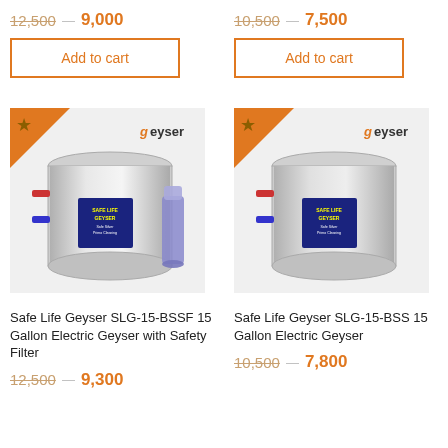12,500   9,000
10,500   7,500
Add to cart
Add to cart
[Figure (photo): Safe Life Geyser SLG-15-BSSF 15 Gallon Electric Geyser with Safety Filter - stainless steel cylindrical geyser with blue filter canister, Geyser brand logo, orange star badge]
[Figure (photo): Safe Life Geyser SLG-15-BSS 15 Gallon Electric Geyser - stainless steel cylindrical geyser, Geyser brand logo, orange star badge]
Safe Life Geyser SLG-15-BSSF 15 Gallon Electric Geyser with Safety Filter
12,500   9,300
Safe Life Geyser SLG-15-BSS 15 Gallon Electric Geyser
10,500   7,800